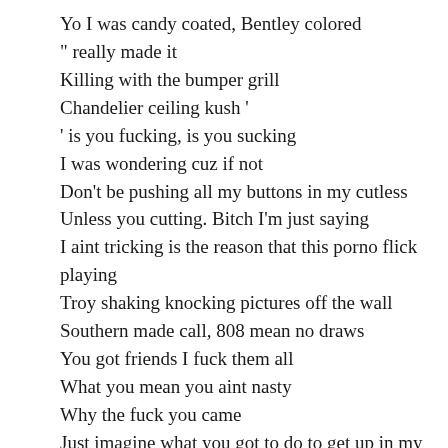Yo I was candy coated, Bentley colored
" really made it
Killing with the bumper grill
Chandelier ceiling kush '
' is you fucking, is you sucking
I was wondering cuz if not
Don't be pushing all my buttons in my cutless
Unless you cutting. Bitch I'm just saying
I aint tricking is the reason that this porno flick playing
Troy shaking knocking pictures off the wall
Southern made call, 808 mean no draws
You got friends I fuck them all
What you mean you aint nasty
Why the fuck you came
Just imagine what you got to do to get up in my